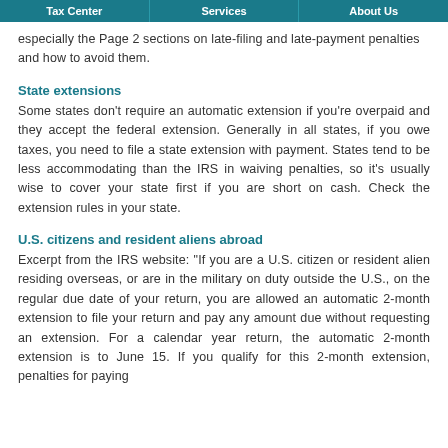Tax Center | Services | About Us
especially the Page 2 sections on late-filing and late-payment penalties and how to avoid them.
State extensions
Some states don’t require an automatic extension if you’re overpaid and they accept the federal extension. Generally in all states, if you owe taxes, you need to file a state extension with payment. States tend to be less accommodating than the IRS in waiving penalties, so it’s usually wise to cover your state first if you are short on cash. Check the extension rules in your state.
U.S. citizens and resident aliens abroad
Excerpt from the IRS website: “If you are a U.S. citizen or resident alien residing overseas, or are in the military on duty outside the U.S., on the regular due date of your return, you are allowed an automatic 2-month extension to file your return and pay any amount due without requesting an extension. For a calendar year return, the automatic 2-month extension is to June 15. If you qualify for this 2-month extension, penalties for paying